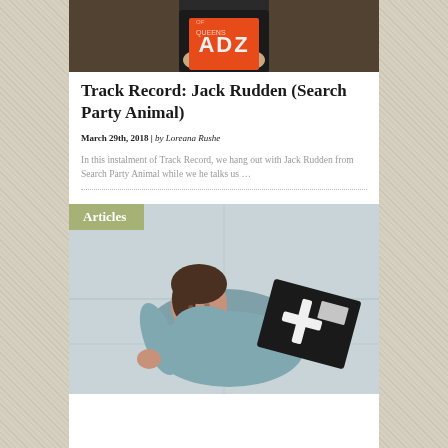[Figure (photo): Person holding a vinyl record or book with 'ADZ' text visible, partial torso shot against a dark background]
Track Record: Jack Rudden (Search Party Animal)
March 29th, 2018 | by Loreana Rushe
In this instalment of Track Record, we hang out with Jack Rudden from Search Party Animal while we he talks us …
[Figure (photo): Person lying on the floor wearing teal/grey hoodie with a black and white record or object nearby, overhead shot]
Articles